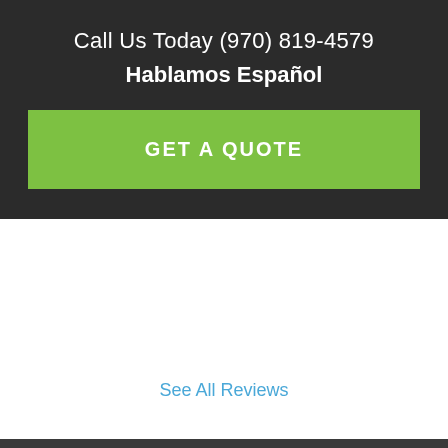Call Us Today (970) 819-4579
Hablamos Español
GET A QUOTE
See All Reviews
About